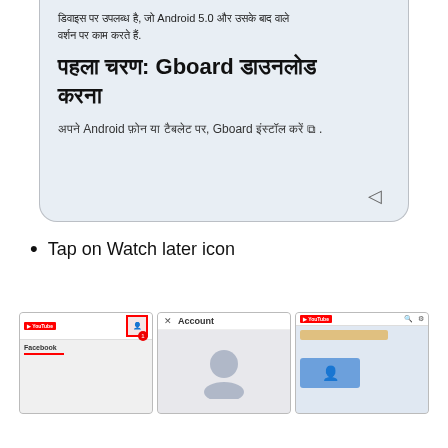[Figure (screenshot): Screenshot of a Hindi language webpage showing text about Android 5.0 compatibility, a section heading 'पहला चरण: Gboard डाउनलोड करना' and body text about installing Gboard on Android phone or tablet]
Tap on Watch later icon
[Figure (screenshot): Three mobile app screenshots showing YouTube app with account icon highlighted in red box, an Account dialog screen, and a YouTube app screen]